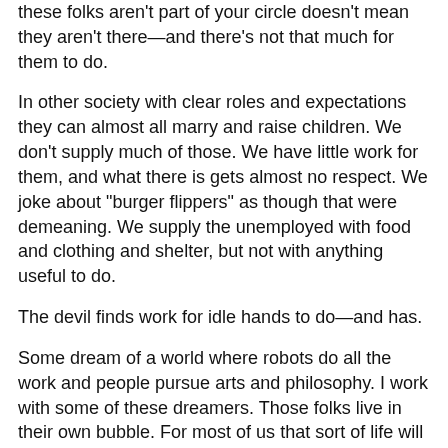these folks aren't part of your circle doesn't mean they aren't there—and there's not that much for them to do.
In other society with clear roles and expectations they can almost all marry and raise children. We don't supply much of those. We have little work for them, and what there is gets almost no respect. We joke about "burger flippers" as though that were demeaning. We supply the unemployed with food and clothing and shelter, but not with anything useful to do.
The devil finds work for idle hands to do—and has.
Some dream of a world where robots do all the work and people pursue arts and philosophy. I work with some of these dreamers. Those folks live in their own bubble. For most of us that sort of life will never be an option--we need some other ways of participating in communal life.
The pleasure palace is so tempting—entertainment and interesting work to do—but only some of us can work there, and those who do tend to get caught up in it and leave no heirs. I can look around at work and see examples. We had 2 children when I got my PhD, but that's not so common—